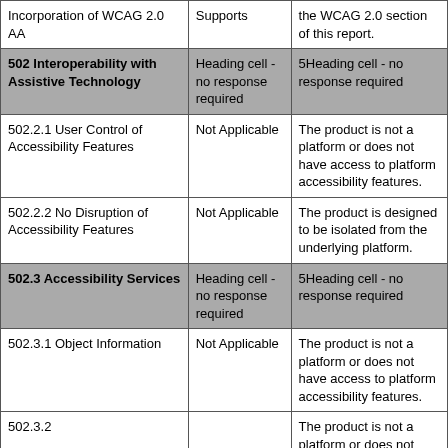| Criteria | Conformance Level | Remarks and Explanations |
| --- | --- | --- |
| Incorporation of WCAG 2.0 AA | Supports | the WCAG 2.0 section of this report. |
| 502 Interoperability with Assistive Technology | Heading cell - no response required | 5Heading cell - no response required |
| 502.2.1 User Control of Accessibility Features | Not Applicable | The product is not a platform or does not have access to platform accessibility features. |
| 502.2.2 No Disruption of Accessibility Features | Not Applicable | The product is designed to be isolated from the underlying platform. |
| 502.3 Accessibility Services | Heading cell - no response required | 5Heading cell - no response required |
| 502.3.1 Object Information | Not Applicable | The product is not a platform or does not have access to platform accessibility features. |
| 502.3.2 |  | The product is not a platform or does not |